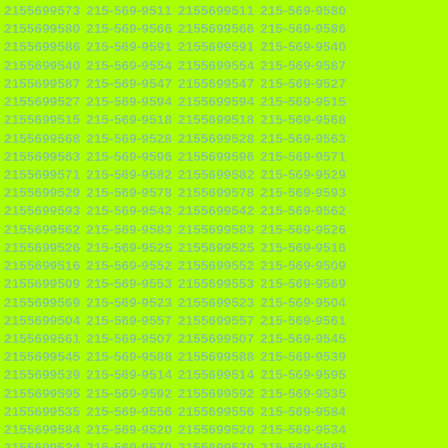2155699573 215-569-9511 2155699511 215-569-9580 2155699580 215-569-9566 2155699566 215-569-9586 2155699586 215-569-9591 2155699591 215-569-9540 2155699540 215-569-9554 2155699554 215-569-9587 2155699587 215-569-9547 2155699547 215-569-9527 2155699527 215-569-9594 2155699594 215-569-9515 2155699515 215-569-9518 2155699518 215-569-9568 2155699568 215-569-9528 2155699528 215-569-9563 2155699563 215-569-9596 2155699596 215-569-9571 2155699571 215-569-9582 2155699582 215-569-9529 2155699529 215-569-9578 2155699578 215-569-9593 2155699593 215-569-9542 2155699542 215-569-9562 2155699562 215-569-9583 2155699583 215-569-9526 2155699526 215-569-9525 2155699525 215-569-9516 2155699516 215-569-9552 2155699552 215-569-9509 2155699509 215-569-9553 2155699553 215-569-9569 2155699569 215-569-9523 2155699523 215-569-9504 2155699504 215-569-9557 2155699557 215-569-9561 2155699561 215-569-9507 2155699507 215-569-9545 2155699545 215-569-9588 2155699588 215-569-9539 2155699539 215-569-9514 2155699514 215-569-9595 2155699595 215-569-9592 2155699592 215-569-9535 2155699535 215-569-9556 2155699556 215-569-9584 2155699584 215-569-9520 2155699520 215-569-9534 2155699534 215-569-9570 2155699570 215-569-9585